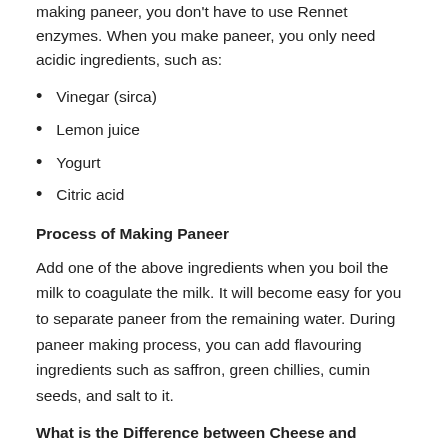making paneer, you don't have to use Rennet enzymes. When you make paneer, you only need acidic ingredients, such as:
Vinegar (sirca)
Lemon juice
Yogurt
Citric acid
Process of Making Paneer
Add one of the above ingredients when you boil the milk to coagulate the milk. It will become easy for you to separate paneer from the remaining water. During paneer making process, you can add flavouring ingredients such as saffron, green chillies, cumin seeds, and salt to it.
What is the Difference between Cheese and Butter?